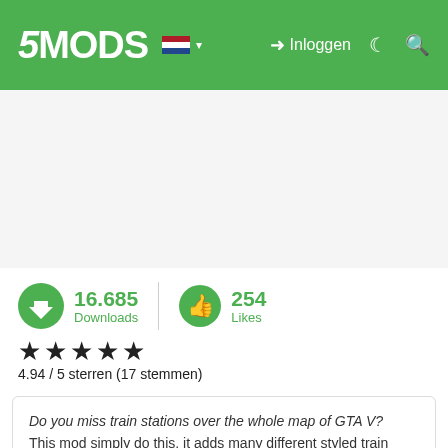5MODS — Inloggen
[Figure (screenshot): Empty gray content area placeholder]
16.685 Downloads   254 Likes
4.94 / 5 sterren (17 stemmen)
Do you miss train stations over the whole map of GTA V? This mod simply do this, it adds many different styled train staions to your map. It also spawns realistic pedestrians and rail road workers to the game.